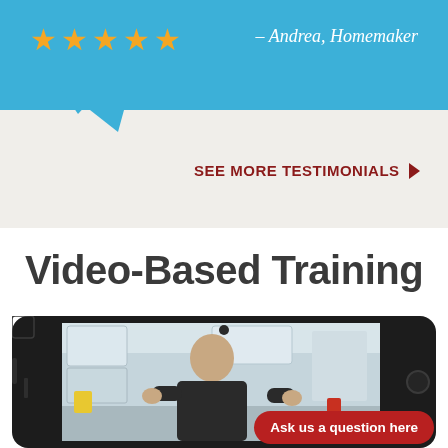[Figure (infographic): Blue speech bubble with five orange stars and italic attribution text '– Andrea, Homemaker' on white/beige background]
– Andrea, Homemaker
SEE MORE TESTIMONIALS ▶
Video-Based Training
[Figure (photo): Smartphone/iPhone mockup displaying a video of a man in a dark polo shirt standing in what appears to be a medical/ambulance interior with white cabinets and equipment]
Ask us a question here